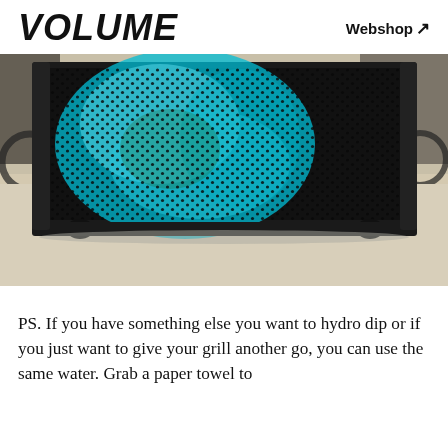VOLUME  Webshop ↗
[Figure (photo): Close-up photo of a guitar amplifier speaker cabinet on a concrete floor. The speaker grill is black metal mesh with a teal/turquoise hydro-dip paint pattern visible behind it. The amp sits on rubber feet. Blurred motorcycles and garage environment in background.]
PS. If you have something else you want to hydro dip or if you just want to give your grill another go, you can use the same water. Grab a paper towel to